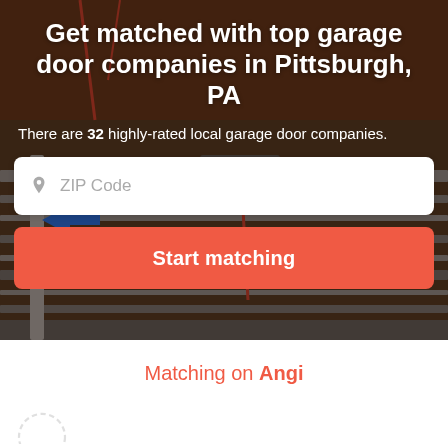[Figure (photo): Hero background image of a garage door interior with metal tracks and cables visible, dark brownish tone]
Get matched with top garage door companies in Pittsburgh, PA
There are 32 highly-rated local garage door companies.
[Figure (other): ZIP Code input field with location pin icon placeholder text]
[Figure (other): Start matching button in red/coral color]
Matching on Angi
[Figure (other): Partial circular icon at bottom left of white section]